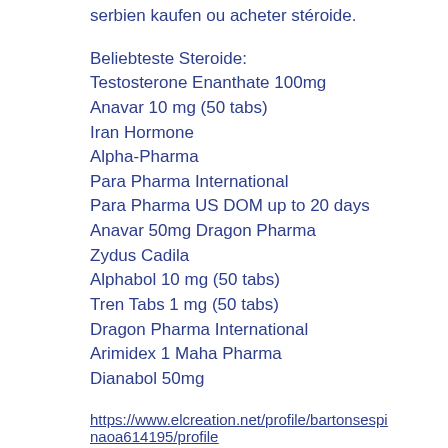serbien kaufen ou acheter stéroide.
Beliebteste Steroide:
Testosterone Enanthate 100mg
Anavar 10 mg (50 tabs)
Iran Hormone
Alpha-Pharma
Para Pharma International
Para Pharma US DOM up to 20 days
Anavar 50mg Dragon Pharma
Zydus Cadila
Alphabol 10 mg (50 tabs)
Tren Tabs 1 mg (50 tabs)
Dragon Pharma International
Arimidex 1 Maha Pharma
Dianabol 50mg
https://www.elcreation.net/profile/bartonsespinosa614195/profile